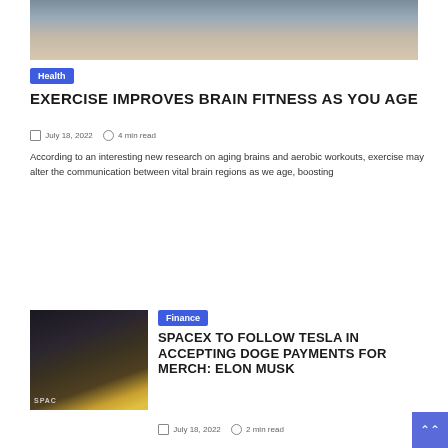[Figure (photo): Photo of feet/legs of people doing yoga or stretching on mats]
Health
EXERCISE IMPROVES BRAIN FITNESS AS YOU AGE
July 18, 2022  4 min read
According to an interesting new research on aging brains and aerobic workouts, exercise may alter the communication between vital brain regions as we age, boosting
[Figure (photo): Photo of Elon Musk with Dogecoin and SpaceX branding]
Finance
SPACEX TO FOLLOW TESLA IN ACCEPTING DOGE PAYMENTS FOR MERCH: ELON MUSK
July 18, 2022  2 min read